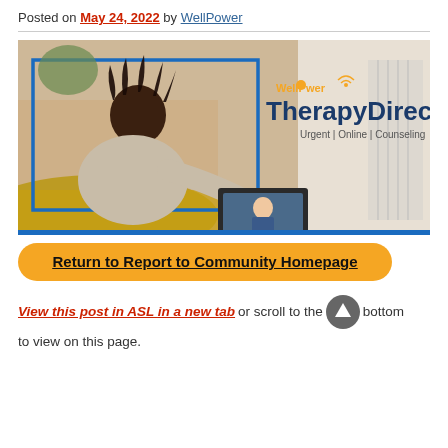Posted on May 24, 2022 by WellPower
[Figure (photo): WellPower TherapyDirect banner showing a man on a couch using a laptop for a video call, with the WellPower TherapyDirect logo and tagline 'Urgent | Online | Counseling']
Return to Report to Community Homepage
View this post in ASL in a new tab or scroll to the bottom to view on this page.